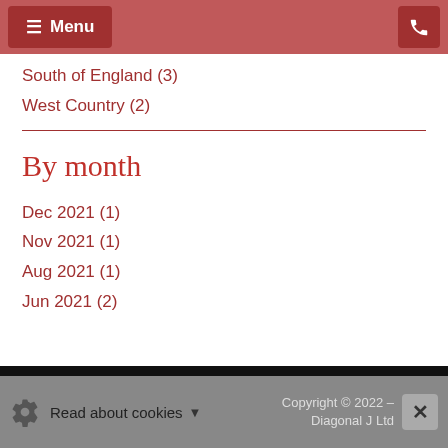Menu
South of England (3)
West Country (2)
By month
Dec 2021 (1)
Nov 2021 (1)
Aug 2021 (1)
Jun 2021 (2)
Read about cookies  Copyright © 2022 – Diagonal J Ltd